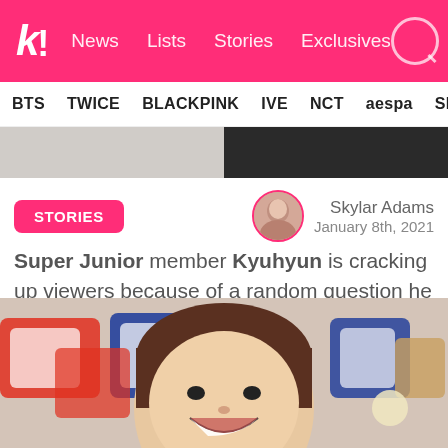k! News  Lists  Stories  Exclusives
BTS  TWICE  BLACKPINK  IVE  NCT  aespa  SHINee
[Figure (photo): Cropped hero image showing partial person figures]
STORIES
Skylar Adams
January 8th, 2021
Super Junior member Kyuhyun is cracking up viewers because of a random question he asked his label's founder.
[Figure (photo): Photo of Kyuhyun (Super Junior member) smiling, with colorful background text/letters visible]